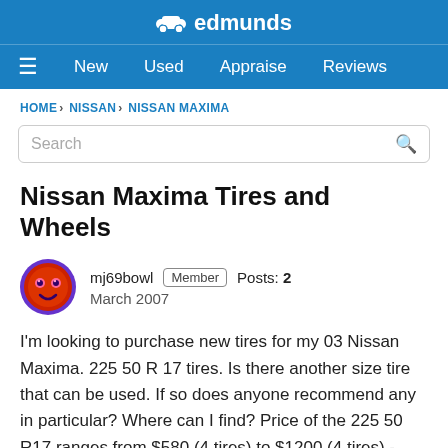edmunds
New  Used  Appraise  Reviews
HOME › NISSAN › NISSAN MAXIMA
Nissan Maxima Tires and Wheels
mj69bowl  Member  Posts: 2  March 2007
I'm looking to purchase new tires for my 03 Nissan Maxima. 225 50 R 17 tires. Is there another size tire that can be used. If so does anyone recommend any in particular? Where can I find? Price of the 225 50 R17 ranges from $580 (4 tires) to $1200 (4 tires) - Anything cheaper?